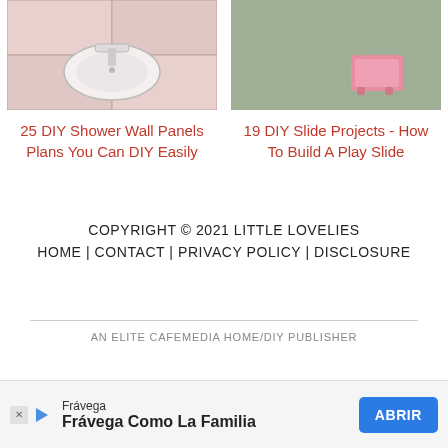[Figure (photo): Photo of a bathroom sink/shower area with pink tiled walls]
[Figure (photo): Photo of a pink plastic step stool or small slide on green carpet]
25 DIY Shower Wall Panels Plans You Can DIY Easily
19 DIY Slide Projects - How To Build A Play Slide
COPYRIGHT © 2021 LITTLE LOVELIES
HOME | CONTACT | PRIVACY POLICY | DISCLOSURE
AN ELITE CAFEMEDIA HOME/DIY PUBLISHER
Frávega
Frávega Como La Familia
ABRIR